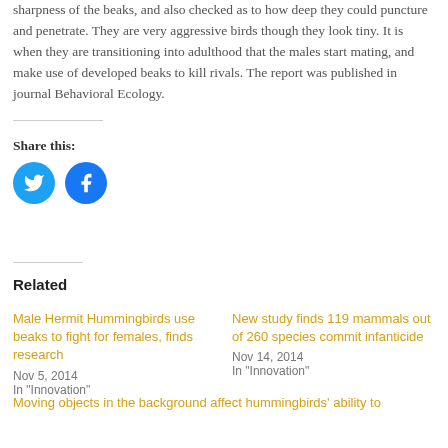sharpness of the beaks, and also checked as to how deep they could puncture and penetrate. They are very aggressive birds though they look tiny. It is when they are transitioning into adulthood that the males start mating, and make use of developed beaks to kill rivals. The report was published in journal Behavioral Ecology.
Share this:
[Figure (infographic): Twitter and Facebook share icon buttons (circular, blue)]
Related
Male Hermit Hummingbirds use beaks to fight for females, finds research
Nov 5, 2014
In "Innovation"
New study finds 119 mammals out of 260 species commit infanticide
Nov 14, 2014
In "Innovation"
Moving objects in the background affect hummingbirds' ability to